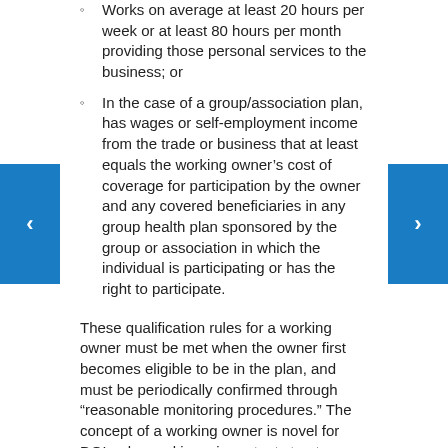Works on average at least 20 hours per week or at least 80 hours per month providing those personal services to the business; or
In the case of a group/association plan, has wages or self-employment income from the trade or business that at least equals the working owner's cost of coverage for participation by the owner and any covered beneficiaries in any group health plan sponsored by the group or association in which the individual is participating or has the right to participate.
These qualification rules for a working owner must be met when the owner first becomes eligible to be in the plan, and must be periodically confirmed through “reasonable monitoring procedures.” The concept of a working owner is novel for DOL rules and is an important step to allowing independent contractors and